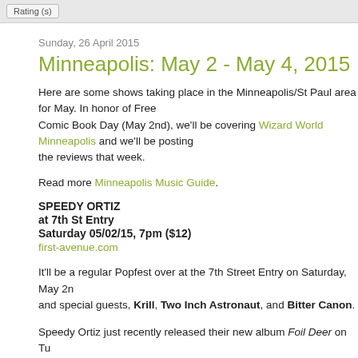Rating (s)
Sunday, 26 April 2015
Minneapolis: May 2 - May 4, 2015
Here are some shows taking place in the Minneapolis/St Paul area for May. In honor of Free Comic Book Day (May 2nd), we'll be covering Wizard World Minneapolis and we'll be posting the reviews that week.
Read more Minneapolis Music Guide.
SPEEDY ORTIZ
at 7th St Entry
Saturday 05/02/15, 7pm ($12)
first-avenue.com
It'll be a regular Popfest over at the 7th Street Entry on Saturday, May 2n and special guests, Krill, Two Inch Astronaut, and Bitter Canon.
Speedy Ortiz just recently released their new album Foil Deer on Tu Records.